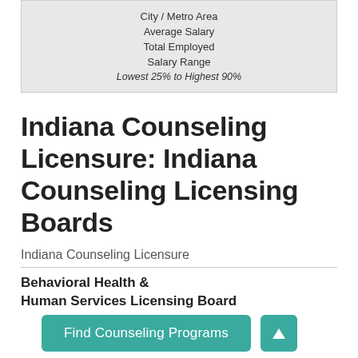| City / Metro Area | Average Salary | Total Employed | Salary Range |
| --- | --- | --- | --- |
| Lowest 25% to Highest 90% |
Indiana Counseling Licensure: Indiana Counseling Licensing Boards
Indiana Counseling Licensure
Behavioral Health & Human Services Licensing Board
402 W. Washington Street, Room W072
Indianapolis, IN 46204